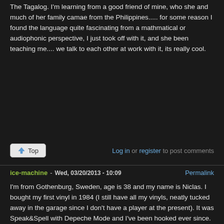The Tagalog. I'm learning from a good friend of mine, who she and much of her family camae from the Philippines..... for some reason I found the language quite fascinating from a mathmatical or audiophonic perspective, I just took off with it, and she been teaching me.... we talk to each other at work with it, its really cool.
Log in or register to post comments
ice-machine - Wed, 03/20/2013 - 10:09  Permalink
I'm from Gothenburg, Sweden, age is 38 and my name is Niclas. I bought my first vinyl in 1984 (I still have all my vinyls, neatly tucked away in the garage since I don't have a player at the present). It was Speak&Spell with Depeche Mode and I've been hooked ever since. So I guess it's quite obvious where I got the name ice machine from. DM is one of the few groups from which I still by albums on CD. I've got a fantastic wife and two boys.
I've loved music all my life especially electronic stuff; DM, JMJ, Kraftwerk, Psyche, 242, Nitzer Ebb, VNV Nation, Sisters of Mercy to mention some. But I do enjoy a variety of other music like Rage Against the Machine, Smiths, Prodigy, Cure, Joy Division and Public Enemy. I've seen most of these groups live but one of my greatest musical experiences